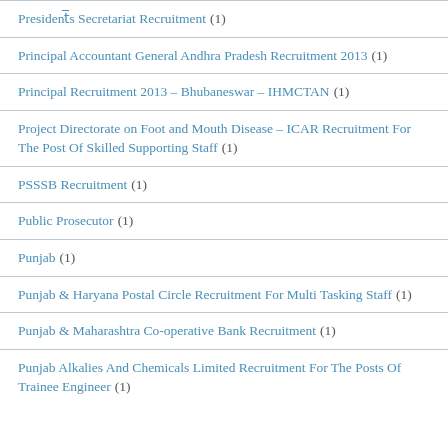President’s Secretariat Recruitment (1)
Principal Accountant General Andhra Pradesh Recruitment 2013 (1)
Principal Recruitment 2013 – Bhubaneswar – IHMCTAN (1)
Project Directorate on Foot and Mouth Disease – ICAR Recruitment For The Post Of Skilled Supporting Staff (1)
PSSSB Recruitment (1)
Public Prosecutor (1)
Punjab (1)
Punjab & Haryana Postal Circle Recruitment For Multi Tasking Staff (1)
Punjab & Maharashtra Co-operative Bank Recruitment (1)
Punjab Alkalies And Chemicals Limited Recruitment For The Posts Of Trainee Engineer (1)